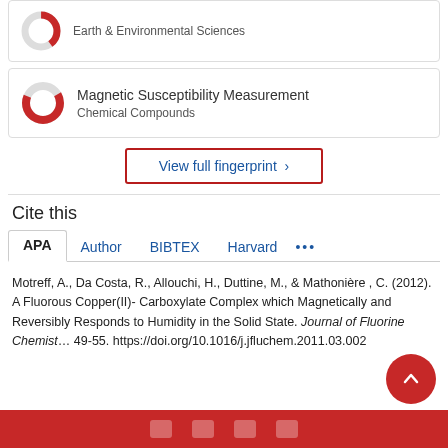[Figure (donut-chart): Partial donut/ring chart icon in red and gray for Copper, Earth & Environmental Sciences category]
Earth & Environmental Sciences
[Figure (donut-chart): Partial donut/ring chart icon in red and gray for Magnetic Susceptibility Measurement, Chemical Compounds category]
Magnetic Susceptibility Measurement
Chemical Compounds
View full fingerprint >
Cite this
APA  Author  BIBTEX  Harvard  ...
Motreff, A., Da Costa, R., Allouchi, H., Duttine, M., & Mathonière , C. (2012). A Fluorous Copper(II)- Carboxylate Complex which Magnetically and Reversibly Responds to Humidity in the Solid State. Journal of Fluorine Chemistry, 49-55. https://doi.org/10.1016/j.jfluchem.2011.03.002